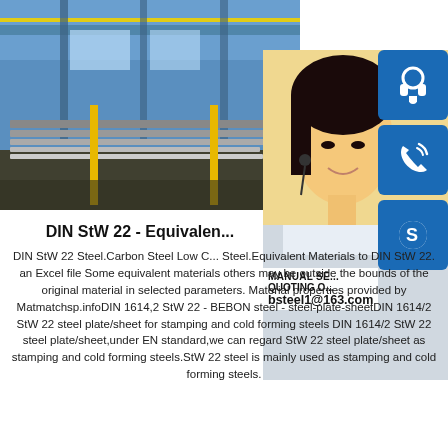[Figure (photo): Factory/steel mill interior showing stacked steel plates with yellow poles, industrial crane in background]
[Figure (photo): Customer service representative (woman with headset) with contact icons (headset, phone, Skype) and overlay text: MANUAL SE... QUOTING O... bsteel1@163.com]
DIN StW 22 - Equivalent Materials
DIN StW 22 Steel.Carbon Steel Low Carbon Steel.Equivalent Materials to DIN StW 22. an Excel file Some equivalent materials others may be outside the bounds of the original material in selected parameters. Material properties provided by Matmatchsp.infoDIN 1614,2 StW 22 - BEBON steel - steel-plate-sheetDIN 1614/2 StW 22 steel plate/sheet for stamping and cold forming steels DIN 1614/2 StW 22 steel plate/sheet,under EN standard,we can regard StW 22 steel plate/sheet as stamping and cold forming steels.StW 22 steel is mainly used as stamping and cold forming steels.